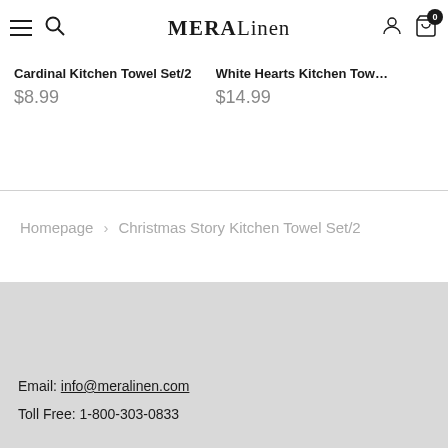MERA Linen — navigation bar with hamburger menu, search icon, logo, account icon, and cart (0)
Cardinal Kitchen Towel Set/2   $8.99
White Hearts Kitchen Towel Set   $14.99
Homepage > Christmas Story Kitchen Towel Set/2
Email: info@meralinen.com
Toll Free: 1-800-303-0833